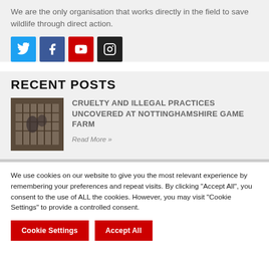We are the only organisation that works directly in the field to save wildlife through direct action.
[Figure (infographic): Four social media icon buttons: Twitter (blue), Facebook (dark blue), YouTube (red), Instagram (black)]
RECENT POSTS
[Figure (photo): A thumbnail photo showing animals in cages or crates at a game farm]
CRUELTY AND ILLEGAL PRACTICES UNCOVERED AT NOTTINGHAMSHIRE GAME FARM
Read More »
We use cookies on our website to give you the most relevant experience by remembering your preferences and repeat visits. By clicking "Accept All", you consent to the use of ALL the cookies. However, you may visit "Cookie Settings" to provide a controlled consent.
Cookie Settings
Accept All